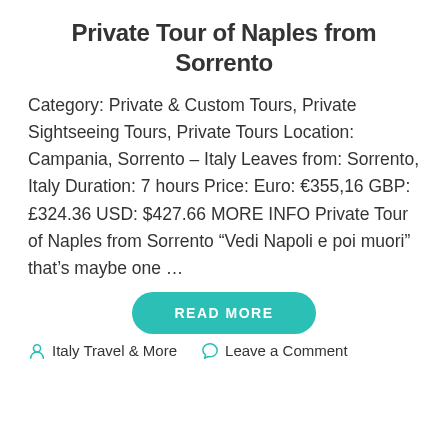Private Tour of Naples from Sorrento
Category: Private & Custom Tours, Private Sightseeing Tours, Private Tours Location: Campania, Sorrento – Italy Leaves from: Sorrento, Italy Duration: 7 hours Price: Euro: €355,16 GBP: £324.36 USD: $427.66 MORE INFO Private Tour of Naples from Sorrento “Vedi Napoli e poi muori” that’s maybe one …
READ MORE
Italy Travel & More   Leave a Comment